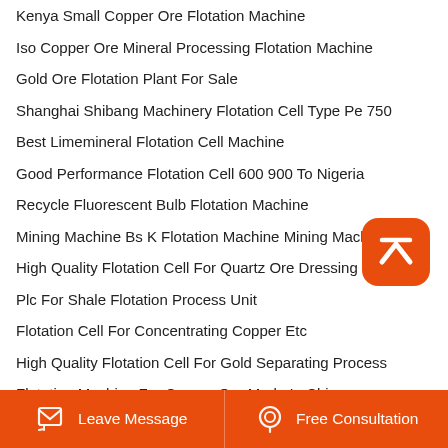Kenya Small Copper Ore Flotation Machine
Iso Copper Ore Mineral Processing Flotation Machine
Gold Ore Flotation Plant For Sale
Shanghai Shibang Machinery Flotation Cell Type Pe 750
Best Limemineral Flotation Cell Machine
Good Performance Flotation Cell 600 900 To Nigeria
Recycle Fluorescent Bulb Flotation Machine
Mining Machine Bs K Flotation Machine Mining Machine
High Quality Flotation Cell For Quartz Ore Dressing
Plc For Shale Flotation Process Unit
Flotation Cell For Concentrating Copper Etc
High Quality Flotation Cell For Gold Separating Process
Flotation Machine For Copper Ore Made In China
Leave Message  Free Consultation